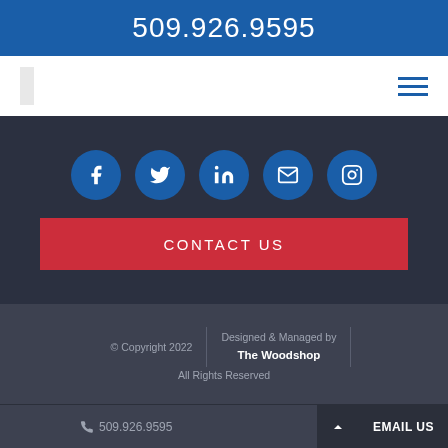509.926.9595
[Figure (logo): Navigation bar with logo placeholder and hamburger menu icon]
[Figure (infographic): Social media icon buttons: Facebook, Twitter, LinkedIn, Email, Instagram in circular blue buttons, and a red CONTACT US button below]
© Copyright 2022 | Designed & Managed by The Woodshop | All Rights Reserved
📞 509.926.9595   EMAIL US